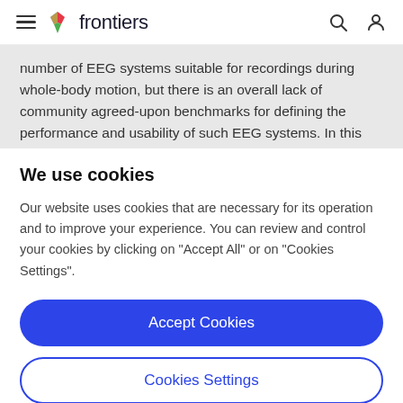frontiers
number of EEG systems suitable for recordings during whole-body motion, but there is an overall lack of community agreed-upon benchmarks for defining the performance and usability of such EEG systems. In this study, we proposed a standard auditory oddball task and
We use cookies
Our website uses cookies that are necessary for its operation and to improve your experience. You can review and control your cookies by clicking on "Accept All" or on "Cookies Settings".
Accept Cookies
Cookies Settings